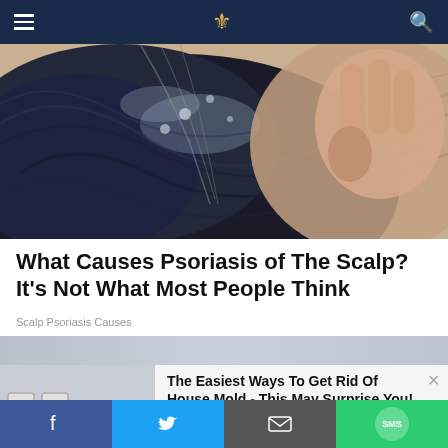Navigation bar with hamburger menu, logo, and search icon
[Figure (photo): Close-up photo of a person's scalp showing dark hair and a hand near the ear, with visible flaking/psoriasis on the scalp]
What Causes Psoriasis of The Scalp? It's Not What Most People Think
Scalp Psoriasis Causes
[Figure (photo): Partial view of a second article image showing a grayish-blue sky or background]
[Figure (photo): Advertisement image showing house mold on a wall near electrical outlets]
The Easiest Ways To Get Rid Of House Mold - This May Surprise You!
Mold Removal | Sponsored
Social sharing bar: Facebook, Twitter, Email, SMS